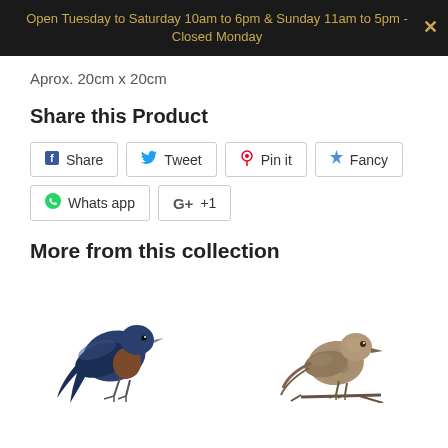Open Tuesday to Saturday 10am to 6pm & Sunday 11am to 5pm - Closed Monday
Aprox. 20cm x 20cm
Share this Product
Share | Tweet | Pin it | Fancy | Whats app | G+ +1
More from this collection
[Figure (photo): Two decorative bird figurines: a blue bird on the left and a rustic metal bird on the right]